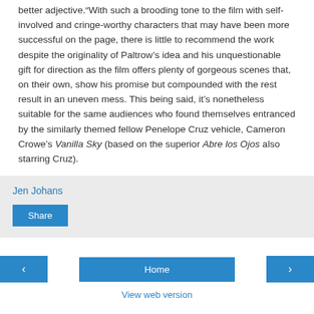better adjective.“With such a brooding tone to the film with self-involved and cringe-worthy characters that may have been more successful on the page, there is little to recommend the work despite the originality of Paltrow’s idea and his unquestionable gift for direction as the film offers plenty of gorgeous scenes that, on their own, show his promise but compounded with the rest result in an uneven mess. This being said, it’s nonetheless suitable for the same audiences who found themselves entranced by the similarly themed fellow Penelope Cruz vehicle, Cameron Crowe’s Vanilla Sky (based on the superior Abre los Ojos also starring Cruz).
Jen Johans
Share
Home
View web version